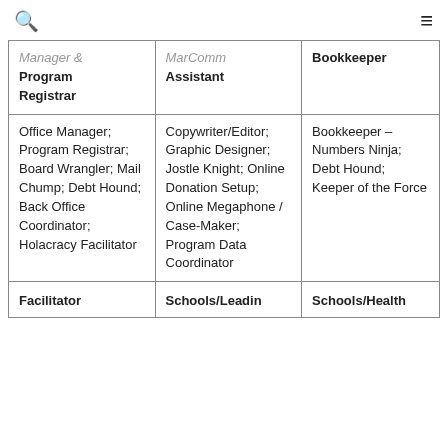🔍  ≡
| Manager & Program Registrar | MarComm Assistant | Bookkeeper |
| --- | --- | --- |
| Office Manager; Program Registrar; Board Wrangler; Mail Chump; Debt Hound; Back Office Coordinator; Holacracy Facilitator | Copywriter/Editor; Graphic Designer; Jostle Knight; Online Donation Setup; Online Megaphone / Case-Maker; Program Data Coordinator | Bookkeeper – Numbers Ninja; Debt Hound; Keeper of the Force |
| Facilitator | Schools/Leading | Schools/Health |